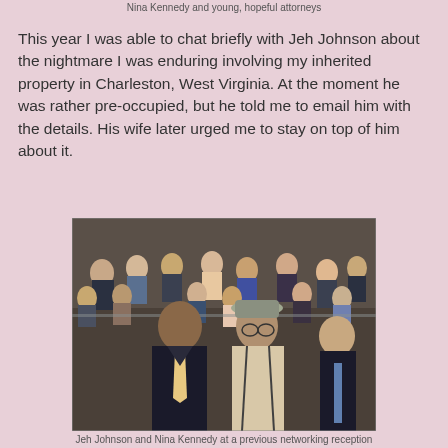Nina Kennedy and young, hopeful attorneys
This year I was able to chat briefly with Jeh Johnson about the nightmare I was enduring involving my inherited property in Charleston, West Virginia. At the moment he was rather pre-occupied, but he told me to email him with the details. His wife later urged me to stay on top of him about it.
[Figure (photo): Two people posing together at a networking reception event with a crowd of attendees in the background.]
Jeh Johnson and Nina Kennedy at a previous networking reception